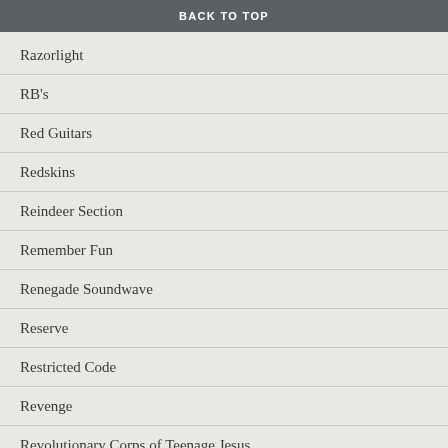BACK TO TOP
Razorlight
RB's
Red Guitars
Redskins
Reindeer Section
Remember Fun
Renegade Soundwave
Reserve
Restricted Code
Revenge
Revolutionary Corps of Teenage Jesus
Revolving Paint Dream
Rexills